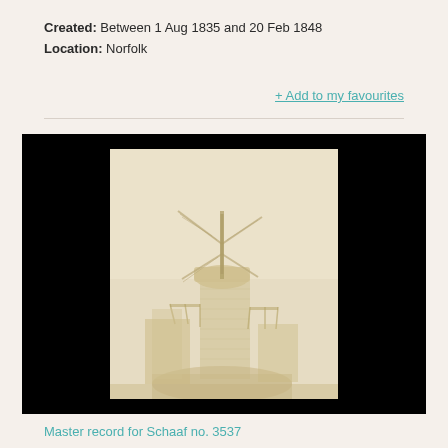Created: Between 1 Aug 1835 and 20 Feb 1848
Location: Norfolk
+ Add to my favourites
[Figure (photo): Early photograph (calotype/salt print) of a windmill in Norfolk, showing a wooden post mill structure against a pale background. The image is faded and sepia-toned, mounted on a light card, displayed against a black background.]
Master record for Schaaf no. 3537